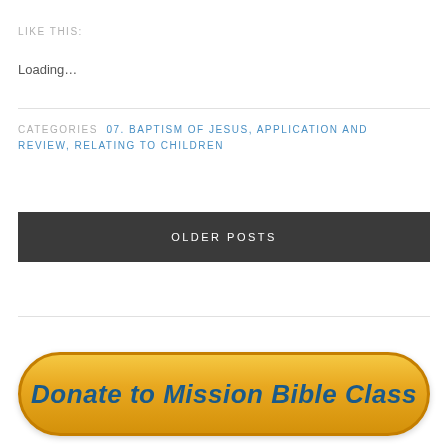LIKE THIS:
Loading...
CATEGORIES  07. BAPTISM OF JESUS, APPLICATION AND REVIEW, RELATING TO CHILDREN
OLDER POSTS
[Figure (other): Golden donate button with text 'Donate to Mission Bible Class']